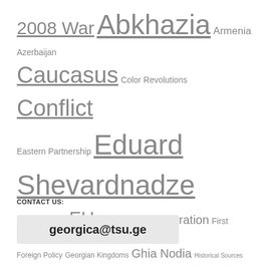[Figure (other): Tag cloud of topics related to Georgian studies, including: 2008 War, Abkhazia, Armenia, Azerbaijan, Caucasus, Color Revolutions, Conflict, Eastern Partnership, Eduard Shevardnadze, Ethnic Conflicts, EU, European Integration, First Republic, Foreign Policy, Georgian Kingdoms, Ghia Nodia, Historical Sources, Identity, Karabakh, Mikheil Saakashvili, Nationalism, National Security, NATO, Neoliberalism, NGOs, North Caucasus, Paul Manning, Ronald Grigor Suny, Rose Revolution, Russia, Russian Empire, Security, South Caucasus, South Ossetia, Soviet Georgia, Soviet Union, Stalin, Stephen Jones, Tbilisi, Transition, Ukraine, USA, Vladimer Papava, West, Zviad Gamsakhurdia]
CONTACT US:
georgica@tsu.ge